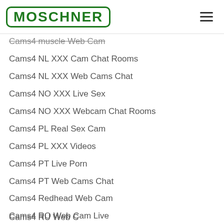MOSCHNER
Cams4 muscle Web Cam
Cams4 NL XXX Cam Chat Rooms
Cams4 NL XXX Web Cams Chat
Cams4 NO XXX Live Sex
Cams4 NO XXX Webcam Chat Rooms
Cams4 PL Real Sex Cam
Cams4 PL XXX Videos
Cams4 PT Live Porn
Cams4 PT Web Cams Chat
Cams4 Redhead Web Cam
Cams4 RO Web Cam Live
Cams4 RO XXX Live Videos
Cams4 RU Web C…